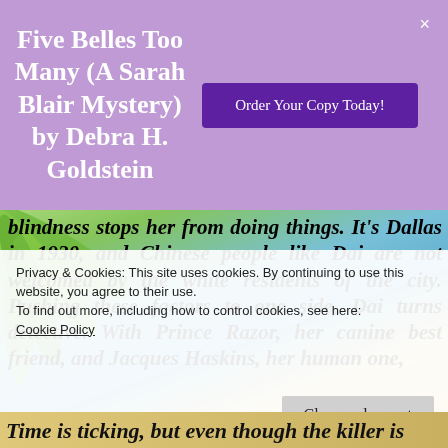Five Belles Too Many (A Sarah Blair Mystery) by Debra H. Goldstein
Order Your Copy Today!
blindness stops her from doing things. It's Dallas in 1930, and Chinese people like Dai are not welcomed by the white residents of the city. Pushing these factors to one side, Dai turns detective. With Prince Razor, her canine best friend, and Jacques Haskins, her human one,
Privacy & Cookies: This site uses cookies. By continuing to use this website, you agree to their use.
To find out more, including how to control cookies, see here:
Cookie Policy
Close and accept
Time is ticking, but even though the killer is